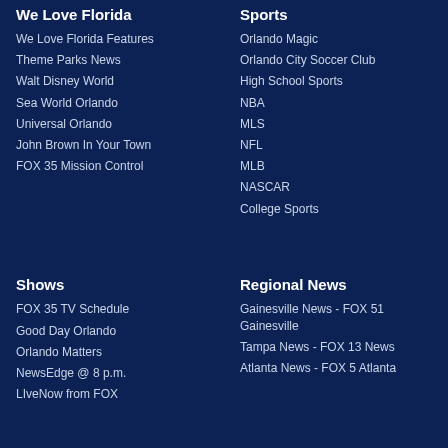We Love Florida
We Love Florida Features
Theme Parks News
Walt Disney World
Sea World Orlando
Universal Orlando
John Brown In Your Town
FOX 35 Mission Control
Sports
Orlando Magic
Orlando City Soccer Club
High School Sports
NBA
MLS
NFL
MLB
NASCAR
College Sports
Shows
FOX 35 TV Schedule
Good Day Orlando
Orlando Matters
NewsEdge @ 8 p.m.
LIveNow from FOX
Regional News
Gainesville News - FOX 51 Gainesville
Tampa News - FOX 13 News
Atlanta News - FOX 5 Atlanta